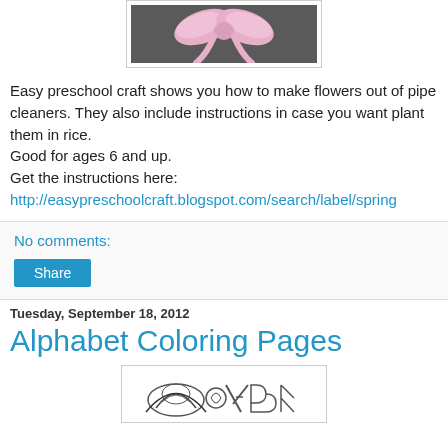[Figure (photo): Photo of a pink ribbon bow tied against a dark background, shown in a white-bordered frame]
Easy preschool craft shows you how to make flowers out of pipe cleaners. They also include instructions in case you want plant them in rice.
Good for ages 6 and up.
Get the instructions here:
http://easypreschoolcraft.blogspot.com/search/label/spring
No comments:
Share
Tuesday, September 18, 2012
Alphabet Coloring Pages
[Figure (illustration): Coloring page with alphabet-themed illustration in a white-bordered frame]